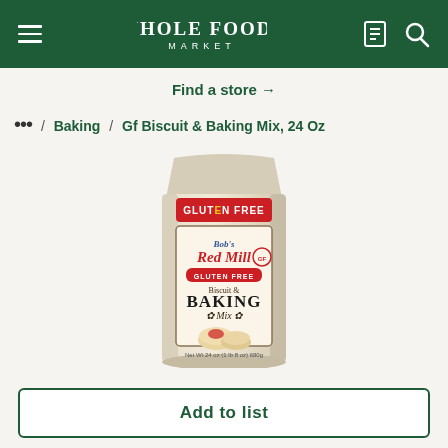Whole Foods Market
Find a store →
… / Baking / Gf Biscuit & Baking Mix, 24 Oz
[Figure (photo): Bob's Red Mill Gluten Free Biscuit & Baking Mix, 24 oz package — a cream/beige stand-up pouch with a red 'Gluten Free' banner at top, Bob's Red Mill logo in red script, and a photo of biscuits on the front label.]
Add to list